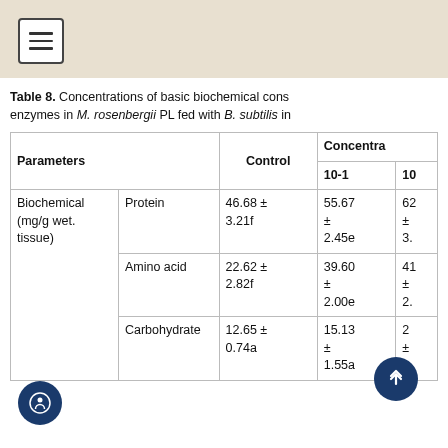hamburger menu icon
Table 8. Concentrations of basic biochemical cons enzymes in M. rosenbergii PL fed with B. subtilis in
| Parameters |  | Control | Concentra 10-1 | 10... |
| --- | --- | --- | --- | --- |
| Biochemical (mg/g wet. tissue) | Protein | 46.68 ± 3.21f | 55.67 ± 2.45e | 62 ± 3. |
|  | Amino acid | 22.62 ± 2.82f | 39.60 ± 2.00e | 41 ± 2. |
|  | Carbohydrate | 12.65 ± 0.74a | 15.13 ± 1.55a | 2 ± 1. |